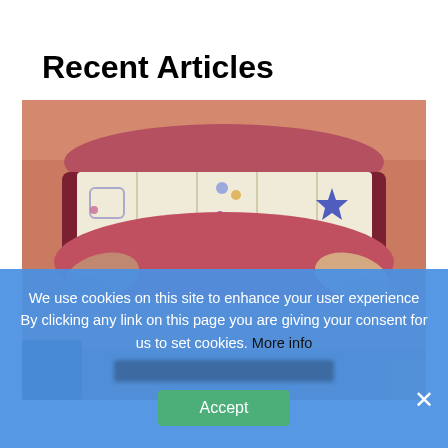Recent Articles
[Figure (photo): Close-up photo of a person holding open their mouth with fingers to display teeth decorated with rhinestones, gems, and star-shaped tooth gems/jewelry in various colors including blue, pink, and silver.]
We use cookies on this site to enhance your user experience By clicking any link on this page you are giving your consent for us to set cookies. More info
Accept